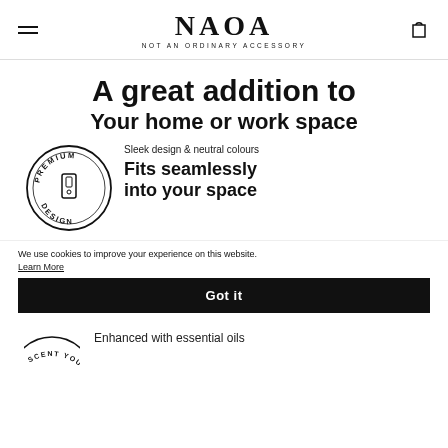NAOA NOT AN ORDINARY ACCESSORY
A great addition to
Your home or work space
Sleek design & neutral colours
[Figure (illustration): PREMIUM DESIGN circular badge with an illustration of a device in the center]
Fits seamlessly into your space
We use cookies to improve your experience on this website. Learn More
Got it
[Figure (illustration): Partial circular badge showing SCENT YOU text arc]
Enhanced with essential oils